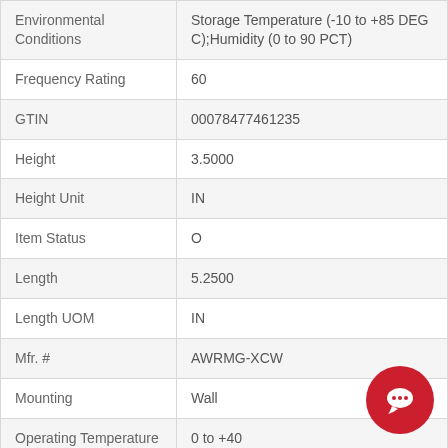| Attribute | Value |
| --- | --- |
| Environmental Conditions | Storage Temperature (-10 to +85 DEG C);Humidity (0 to 90 PCT) |
| Frequency Rating | 60 |
| GTIN | 00078477461235 |
| Height | 3.5000 |
| Height Unit | IN |
| Item Status | O |
| Length | 5.2500 |
| Length UOM | IN |
| Mfr. # | AWRMG-XCW |
| Mounting | Wall |
| Operating Temperature | 0 to +40 |